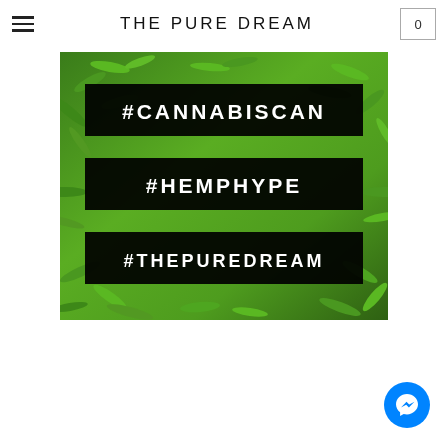THE PURE DREAM
[Figure (photo): Cannabis/hemp plant leaves background with three black banner overlays containing hashtags: #CANNABISCAN, #HEMPHYPE, #THEPUREDREAM in white bold text]